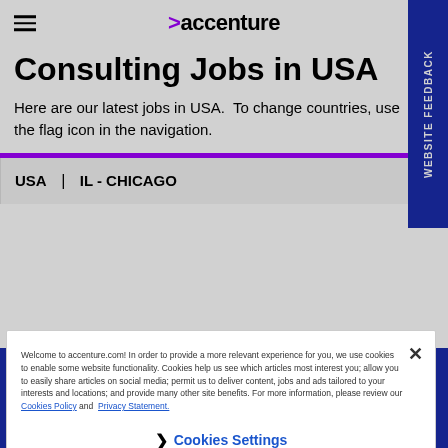accenture
Consulting Jobs in USA
Here are our latest jobs in USA.  To change countries, use the flag icon in the navigation.
USA  |  IL - CHICAGO
Welcome to accenture.com! In order to provide a more relevant experience for you, we use cookies to enable some website functionality. Cookies help us see which articles most interest you; allow you to easily share articles on social media; permit us to deliver content, jobs and ads tailored to your interests and locations; and provide many other site benefits. For more information, please review our Cookies Policy and  Privacy Statement.
❯  Cookies Settings
SEARCH JOBS | CAREERS BLOG | REGISTER FOR JOB ALERTS